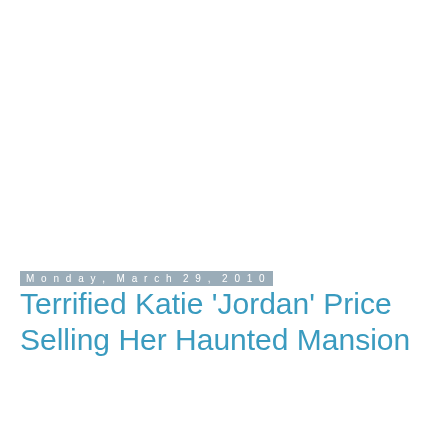Monday, March 29, 2010
Terrified Katie 'Jordan' Price Selling Her Haunted Mansion